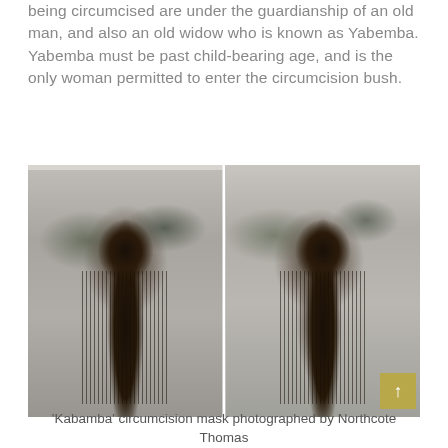being circumcised are under the guardianship of an old man, and also an old widow who is known as Yabemba. Yabemba must be past child-bearing age, and is the only woman permitted to enter the circumcision bush.
[Figure (photo): Two black and white photographs side by side showing 'Kabamba' circumcision masks — full-body costumes with a carved wooden face mask and long fiber/grass fringe covering the body, photographed outdoors with trees in background.]
'Kabamba' circumcision mask photographed by Northcote Thomas